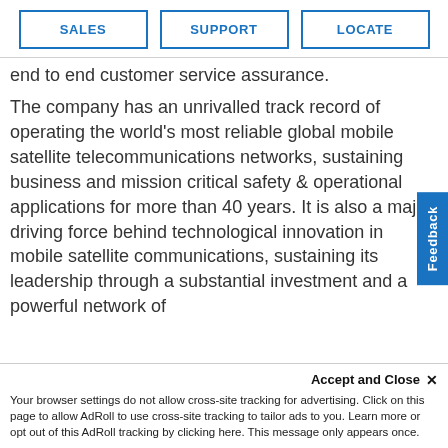SALES
SUPPORT
LOCATE
end to end customer service assurance.
The company has an unrivalled track record of operating the world's most reliable global mobile satellite telecommunications networks, sustaining business and mission critical safety & operational applications for more than 40 years. It is also a major driving force behind technological innovation in mobile satellite communications, sustaining its leadership through a substantial investment and a powerful network of
Feedback
Accept and Close ✕
Your browser settings do not allow cross-site tracking for advertising. Click on this page to allow AdRoll to use cross-site tracking to tailor ads to you. Learn more or opt out of this AdRoll tracking by clicking here. This message only appears once.